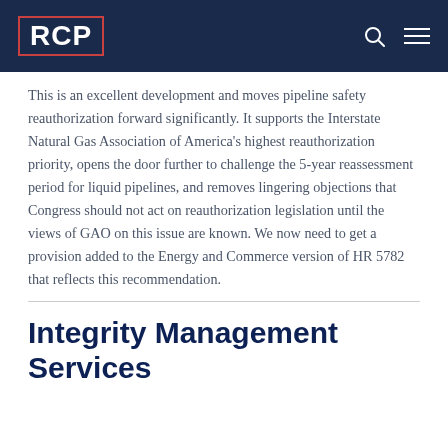RCP
This is an excellent development and moves pipeline safety reauthorization forward significantly. It supports the Interstate Natural Gas Association of America's highest reauthorization priority, opens the door further to challenge the 5-year reassessment period for liquid pipelines, and removes lingering objections that Congress should not act on reauthorization legislation until the views of GAO on this issue are known. We now need to get a provision added to the Energy and Commerce version of HR 5782 that reflects this recommendation.
Integrity Management Services